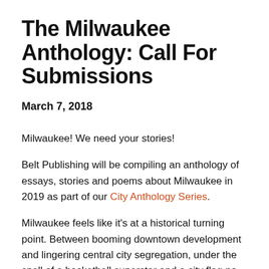The Milwaukee Anthology: Call For Submissions
March 7, 2018
Milwaukee! We need your stories!
Belt Publishing will be compiling an anthology of essays, stories and poems about Milwaukee in 2019 as part of our City Anthology Series.
Milwaukee feels like it’s at a historical turning point. Between booming downtown development and lingering central city segregation, under the spell of a basketball superstar and a city flag no one can agree on, the conflicts of the present day in Milwaukee seem to be coming to a